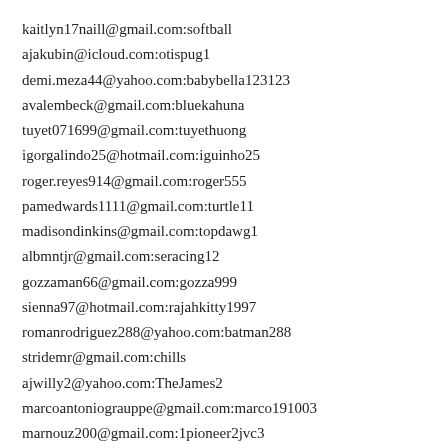kaitlyn17naill@gmail.com:softball
ajakubin@icloud.com:otispug1
demi.meza44@yahoo.com:babybella123123
avalembeck@gmail.com:bluekahuna
tuyet071699@gmail.com:tuyethuong
igorgalindo25@hotmail.com:iguinho25
roger.reyes914@gmail.com:roger555
pamedwards1111@gmail.com:turtle11
madisondinkins@gmail.com:topdawg1
albmntjr@gmail.com:seracing12
gozzaman66@gmail.com:gozza999
sienna97@hotmail.com:rajahkitty1997
romanrodriguez288@yahoo.com:batman288
stridemr@gmail.com:chills
ajwilly2@yahoo.com:TheJames2
marcoantoniograuppe@gmail.com:marco191003
marnouz200@gmail.com:1pioneer2jvc3
jonsaisho@gmail.com:jrs72292
dododudu06@gmail.com:dodo1104